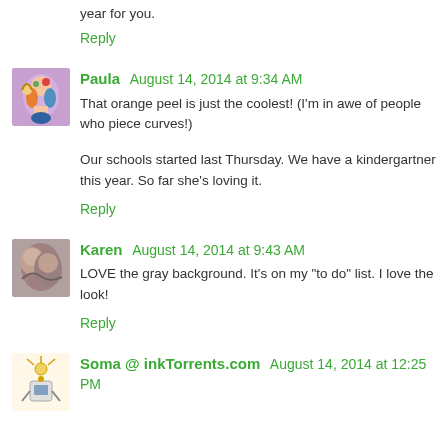year for you.
Reply
Paula  August 14, 2014 at 9:34 AM
That orange peel is just the coolest! (I'm in awe of people who piece curves!)
Our schools started last Thursday. We have a kindergartner this year. So far she's loving it.
Reply
Karen  August 14, 2014 at 9:43 AM
LOVE the gray background. It's on my "to do" list. I love the look!
Reply
Soma @ inkTorrents.com  August 14, 2014 at 12:25 PM